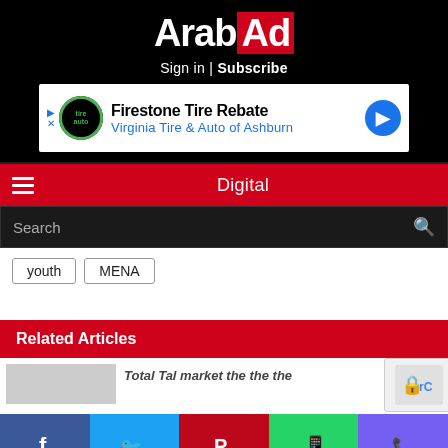[Figure (logo): ArabAd logo — white 'Arab' text and red box with white 'Ad' text on black background]
Sign in | Subscribe
[Figure (screenshot): Advertisement banner: Firestone Tire Rebate — Virginia Tire & Auto of Ashburn]
Digital
Search
youth
MENA
Related Articles
[Figure (screenshot): Article thumbnail and partial headline text]
Facebook | Twitter | Pinterest | WhatsApp | Viber social share buttons